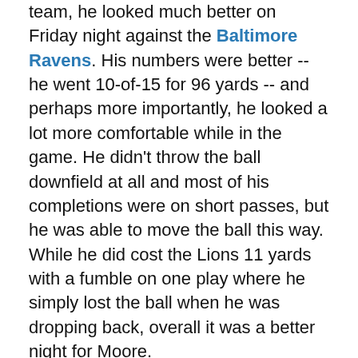team, he looked much better on Friday night against the Baltimore Ravens. His numbers were better -- he went 10-of-15 for 96 yards -- and perhaps more importantly, he looked a lot more comfortable while in the game. He didn't throw the ball downfield at all and most of his completions were on short passes, but he was able to move the ball this way. While he did cost the Lions 11 yards with a fumble on one play where he simply lost the ball when he was dropping back, overall it was a better night for Moore.
As things stand right now, Moore has two weeks left to show coaches that he deserves to be one of the 53 players that are kept around going into the regular season. He won't get a ton of playing time next week with the starters expected to play into the second half, but he should see the field a lot in the Lions' preseason